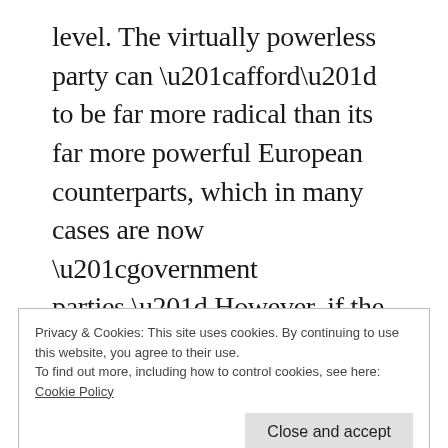level. The virtually powerless party can “afford” to be far more radical than its far more powerful European counterparts, which in many cases are now “government parties.” However, if the U.S. Green Party were to become the second party—or even the first party—in a revamped two-party system, what’s to prevent it from going the way of the German Greens? The answer is nothing.
Privacy & Cookies: This site uses cookies. By continuing to use this website, you agree to their use.
To find out more, including how to control cookies, see here:
Cookie Policy
Close and accept
d